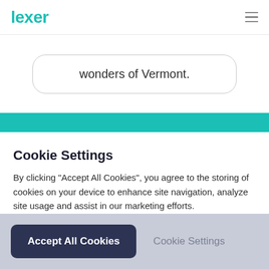lexer
wonders of Vermont.
Cookie Settings
By clicking “Accept All Cookies”, you agree to the storing of cookies on your device to enhance site navigation, analyze site usage and assist in our marketing efforts.
More info
Accept All Cookies
Cookie Settings